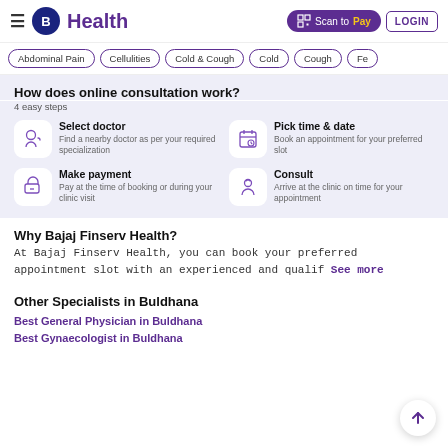B Health | Scan to Pay | LOGIN
Abdominal Pain | Cellulities | Cold & Cough | Cold | Cough | Fe...
How does online consultation work?
4 easy steps
Select doctor - Find a nearby doctor as per your required specialization
Pick time & date - Book an appointment for your preferred slot
Make payment - Pay at the time of booking or during your clinic visit
Consult - Arrive at the clinic on time for your appointment
Why Bajaj Finserv Health?
At Bajaj Finserv Health, you can book your preferred appointment slot with an experienced and qualif See more
Other Specialists in Buldhana
Best General Physician in Buldhana
Best Gynaecologist in Buldhana